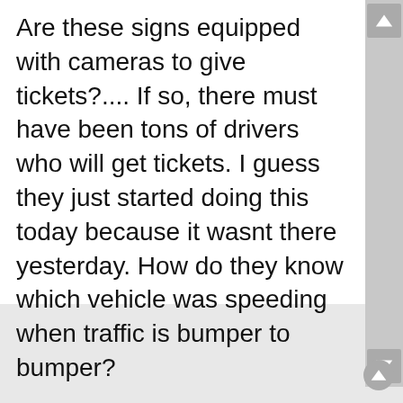Are these signs equipped with cameras to give tickets?.... If so, there must have been tons of drivers who will get tickets. I guess they just started doing this today because it wasnt there yesterday. How do they know which vehicle was speeding when traffic is bumper to bumper?